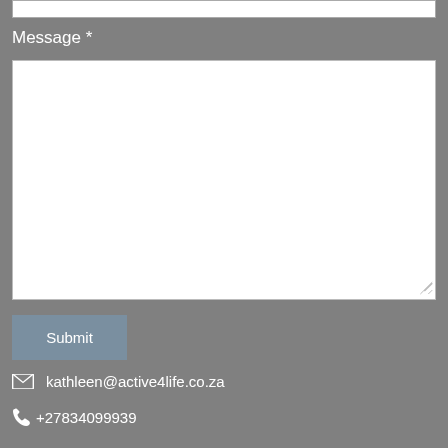Message *
[Figure (other): Empty white textarea input field with resize handle at bottom-right corner]
Submit
kathleen@active4life.co.za
+27834099939